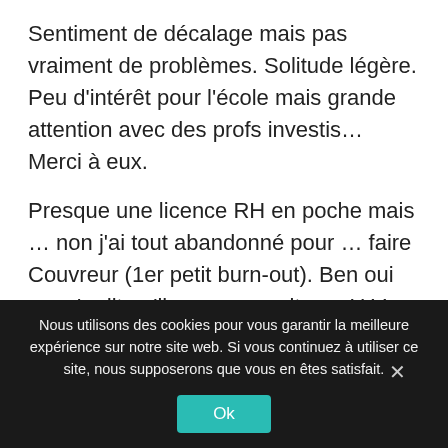Sentiment de décalage mais pas vraiment de problèmes. Solitude légère. Peu d'intérêt pour l'école mais grande attention avec des profs investis… Merci à eux.
Presque une licence RH en poche mais … non j'ai tout abandonné pour … faire Couvreur (1er petit burn-out). Ben oui on m'a dit qu'il me manquait une U.V pour valider le bac +3 malgré une moyenne supérieure à 10. Allergique à la
Nous utilisons des cookies pour vous garantir la meilleure expérience sur notre site web. Si vous continuez à utiliser ce site, nous supposerons que vous en êtes satisfait.